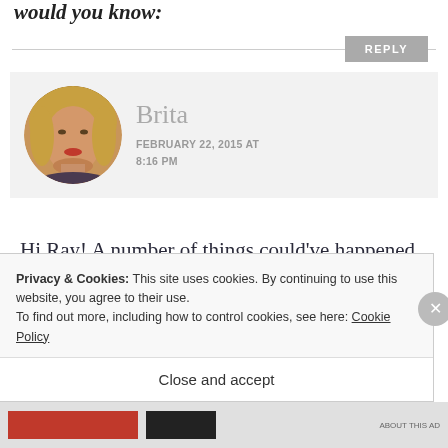would you know:
REPLY
[Figure (photo): Round avatar photo of Brita, a woman with blonde hair and red lips]
Brita
FEBRUARY 22, 2015 AT 8:16 PM
Hi Ray! A number of things could've happened, but the type of flour can make all the difference. I
Privacy & Cookies: This site uses cookies. By continuing to use this website, you agree to their use.
To find out more, including how to control cookies, see here: Cookie Policy
Close and accept